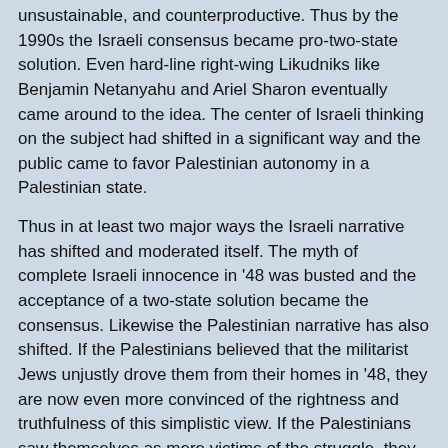unsustainable, and counterproductive. Thus by the 1990s the Israeli consensus became pro-two-state solution. Even hard-line right-wing Likudniks like Benjamin Netanyahu and Ariel Sharon eventually came around to the idea. The center of Israeli thinking on the subject had shifted in a significant way and the public came to favor Palestinian autonomy in a Palestinian state.
Thus in at least two major ways the Israeli narrative has shifted and moderated itself. The myth of complete Israeli innocence in '48 was busted and the acceptance of a two-state solution became the consensus. Likewise the Palestinian narrative has also shifted. If the Palestinians believed that the militarist Jews unjustly drove them from their homes in '48, they are now even more convinced of the rightness and truthfulness of this simplistic view. If the Palestinians saw themselves as mere victims of the struggle, they are now even more convinced of their own innocence and the righteousness of their cause. In short, while the Israelis have moderated their views, the Palestinians have, year after year, decade after decade, bolstered their original narrative.